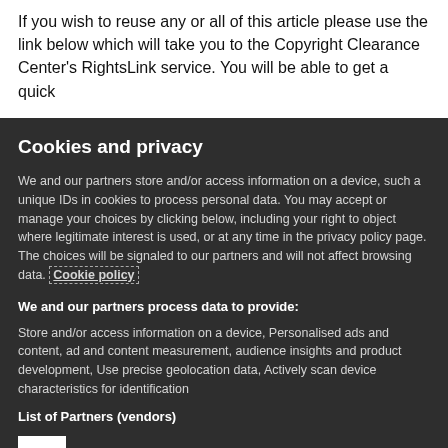If you wish to reuse any or all of this article please use the link below which will take you to the Copyright Clearance Center's RightsLink service. You will be able to get a quick
Cookies and privacy
We and our partners store and/or access information on a device, such a unique IDs in cookies to process personal data. You may accept or manage your choices by clicking below, including your right to object where legitimate interest is used, or at any time in the privacy policy page. The choices will be signaled to our partners and will not affect browsing data. Cookie policy
We and our partners process data to provide:
Store and/or access information on a device, Personalised ads and content, ad and content measurement, audience insights and product development, Use precise geolocation data, Actively scan device characteristics for identification
List of Partners (vendors)